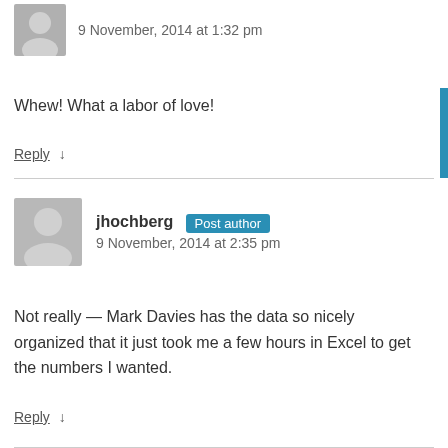9 November, 2014 at 1:32 pm
Whew! What a labor of love!
Reply ↓
jhochberg Post author
9 November, 2014 at 2:35 pm
Not really — Mark Davies has the data so nicely organized that it just took me a few hours in Excel to get the numbers I wanted.
Reply ↓